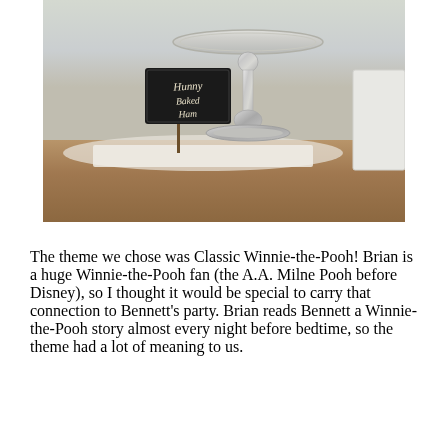[Figure (photo): Close-up photo of a silver cake stand or pedestal on a wooden table, with a small black chalkboard sign in front reading 'Hunny Baked Ham', likely at a Winnie-the-Pooh themed party.]
The theme we chose was Classic Winnie-the-Pooh! Brian is a huge Winnie-the-Pooh fan (the A.A. Milne Pooh before Disney), so I thought it would be special to carry that connection to Bennett's party. Brian reads Bennett a Winnie-the-Pooh story almost every night before bedtime, so the theme had a lot of meaning to us.